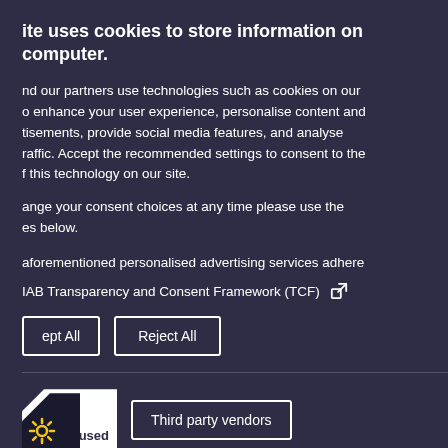[Figure (screenshot): Background webpage content partially visible on right side with gray background, showing partial text including 'ument', 'age of', 'or by', 'sk people', 'ual' (link), 'se who', 'kills or', 'sisted' (link), 'er the', 'rrently', 'c health']
ite uses cookies to store information on computer.
nd our partners use technologies such as cookies on our o enhance your user experience, personalise content and tisements, provide social media features, and analyse raffic. Accept the recommended settings to consent to the f this technology on our site.
ange your consent choices at any time please use the es below.
aforementioned personalised advertising services adhere
IAB Transparency and Consent Framework (TCF)
ept All    Reject All
is used    Third party vendors